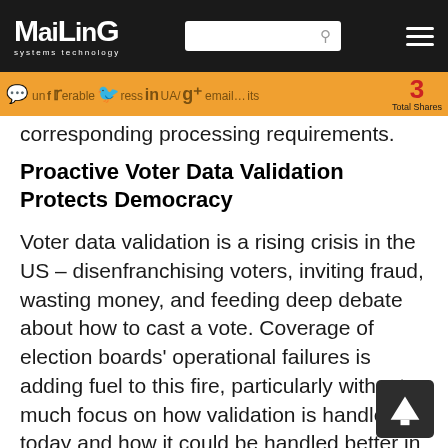Mailing Systems Technology — header with search and menu
Social share bar: chat, Facebook, Twitter, LinkedIn, Google+, 3 Total Shares. URL: uncoverable-as-address/UA/email... its
corresponding processing requirements.
Proactive Voter Data Validation Protects Democracy
Voter data validation is a rising crisis in the US – disenfranchising voters, inviting fraud, wasting money, and feeding deep debate about how to cast a vote. Coverage of election boards' operational failures is adding fuel to this fire, particularly without much focus on how validation is handled today and how it could be handled better in the near future.